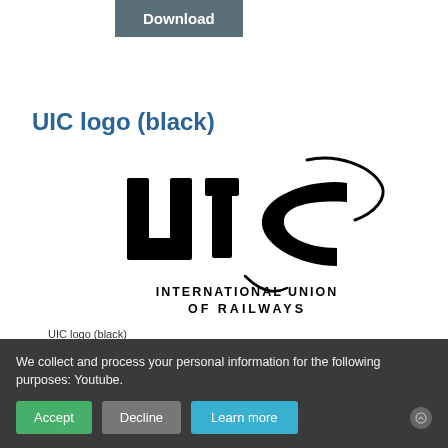Download
UIC logo (black)
[Figure (logo): UIC (International Union of Railways) logo in black — stylized 'uic' lettering with a swoosh arc, and text INTERNATIONAL UNION OF RAILWAYS below]
UIC logo (black)
We collect and process your personal information for the following purposes: Youtube.
Accept
Decline
Learn more